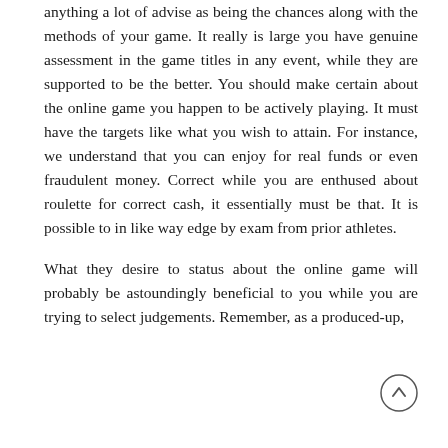anything a lot of advise as being the chances along with the methods of your game. It really is large you have genuine assessment in the game titles in any event, while they are supported to be the better. You should make certain about the online game you happen to be actively playing. It must have the targets like what you wish to attain. For instance, we understand that you can enjoy for real funds or even fraudulent money. Correct while you are enthused about roulette for correct cash, it essentially must be that. It is possible to in like way edge by exam from prior athletes.

What they desire to status about the online game will probably be astoundingly beneficial to you while you are trying to select judgements. Remember, as a produced-up,